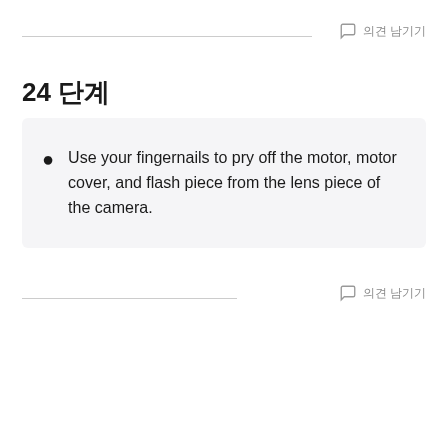의견 남기기
24 단계
Use your fingernails to pry off the motor, motor cover, and flash piece from the lens piece of the camera.
의견 남기기